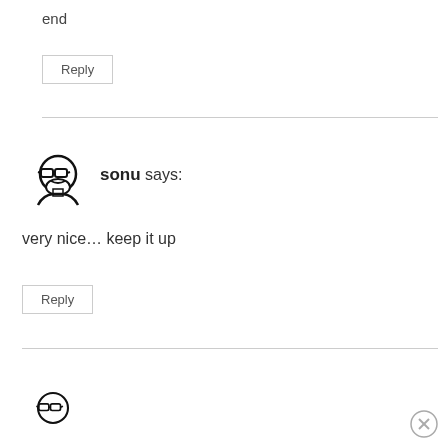end
Reply
sonu says:
very nice… keep it up
Reply